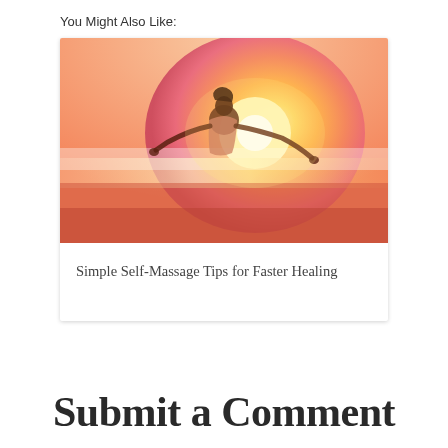You Might Also Like:
[Figure (photo): Woman outdoors with arms spread wide, backlit by a warm golden-orange sunset, glowing light behind her.]
Simple Self-Massage Tips for Faster Healing
Submit a Comment